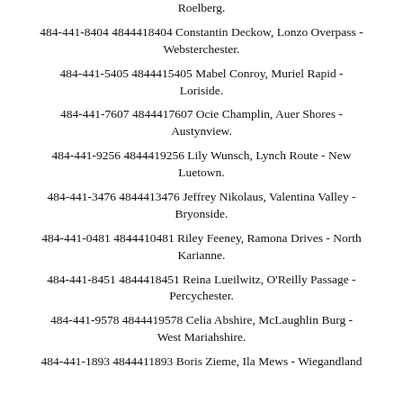Roelberg.
484-441-8404 4844418404 Constantin Deckow, Lonzo Overpass - Websterchester.
484-441-5405 4844415405 Mabel Conroy, Muriel Rapid - Loriside.
484-441-7607 4844417607 Ocie Champlin, Auer Shores - Austynview.
484-441-9256 4844419256 Lily Wunsch, Lynch Route - New Luetown.
484-441-3476 4844413476 Jeffrey Nikolaus, Valentina Valley - Bryonside.
484-441-0481 4844410481 Riley Feeney, Ramona Drives - North Karianne.
484-441-8451 4844418451 Reina Lueilwitz, O'Reilly Passage - Percychester.
484-441-9578 4844419578 Celia Abshire, McLaughlin Burg - West Mariahshire.
484-441-1893 4844411893 Boris Zieme, Ila Mews - Wiegandland